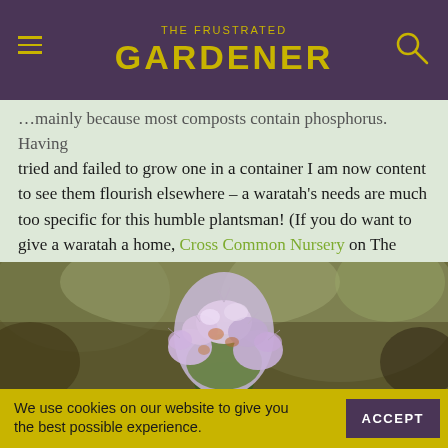THE FRUSTRATED GARDENER
…mainly because most composts contain phosphorus. Having tried and failed to grow one in a container I am now content to see them flourish elsewhere – a waratah's needs are much too specific for this humble plantsman! (If you do want to give a waratah a home, Cross Common Nursery on The Lizard has a small selection of imported plants.)
[Figure (photo): Close-up photograph of small pale purple/pink flowers clustered together on a spike, with a blurred olive-green background.]
We use cookies on our website to give you the best possible experience.